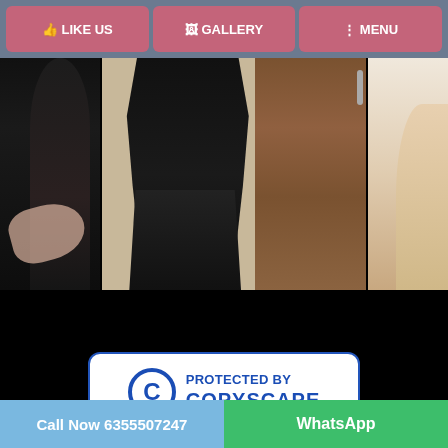[Figure (screenshot): Navigation bar with three buttons: LIKE US, GALLERY, MENU on a dark blue-grey background with pink/rose colored buttons]
[Figure (photo): Three photos side by side: left shows a person in black clothing closeup, center shows a person in black outfit standing by a wooden door, right shows a partial body photo]
[Figure (logo): Copyscape copyright protection badge: circular C symbol on left, text PROTECTED BY COPYSCAPE in blue bold text on white background with rounded blue border]
Call Now 6355507247
WhatsApp